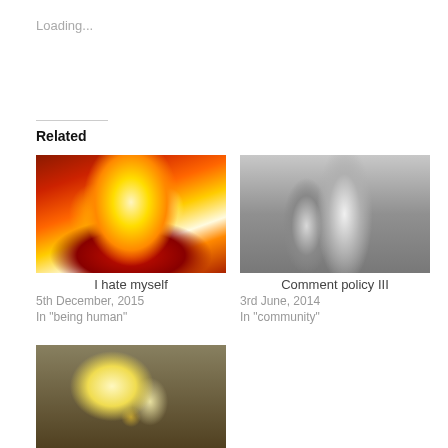Loading...
Related
[Figure (photo): Nuclear explosion mushroom cloud with orange and yellow flames against a dark red background]
I hate myself
5th December, 2015
In "being human"
[Figure (photo): Black and white photograph of a muscular sculpture or figure, kneeling, showing back muscles]
Comment policy III
3rd June, 2014
In "community"
[Figure (photo): Abstract painting with yellow, gold and dark brown tones, impressionistic style]